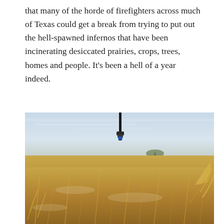that many of the horde of firefighters across much of Texas could get a break from trying to put out the hell-spawned infernos that have been incinerating desiccated prairies, crops, trees, homes and people. It's been a hell of a year indeed.
[Figure (photo): A photograph of a dry, drought-stricken agricultural field with withered golden-brown stubble covering the parched ground. An irrigation sprinkler nozzle hangs at the top center of the image against a pale overcast sky. The flat landscape stretches to the horizon with sparse vegetation visible in the far background.]